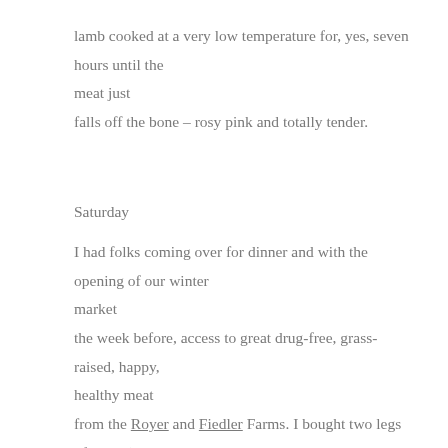lamb cooked at a very low temperature for, yes, seven hours until the meat just
falls off the bone – rosy pink and totally tender.
Saturday
I had folks coming over for dinner and with the opening of our winter market the week before, access to great drug-free, grass-raised, happy, healthy meat from the Royer and Fiedler Farms. I bought two legs of lamb (one from each farm) -– one bone in, one boneless — and braised them together (adding the boneless two hours after the braise started.)
I combined a couple of recipes, but the whole thing couldn't have been simpler. As per Paula Wolfert, I boiled the meat for